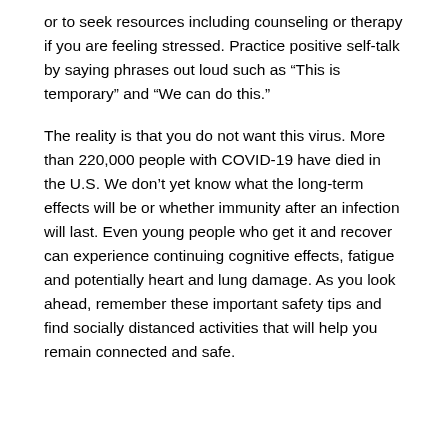or to seek resources including counseling or therapy if you are feeling stressed. Practice positive self-talk by saying phrases out loud such as “This is temporary” and “We can do this.”
The reality is that you do not want this virus. More than 220,000 people with COVID-19 have died in the U.S. We don’t yet know what the long-term effects will be or whether immunity after an infection will last. Even young people who get it and recover can experience continuing cognitive effects, fatigue and potentially heart and lung damage. As you look ahead, remember these important safety tips and find socially distanced activities that will help you remain connected and safe.